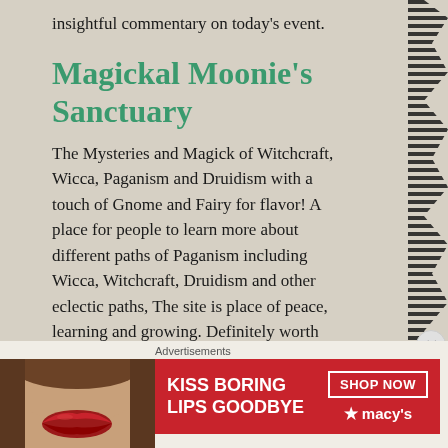insightful commentary on today's event.
Magickal Moonie's Sanctuary
The Mysteries and Magick of Witchcraft, Wicca, Paganism and Druidism with a touch of Gnome and Fairy for flavor! A place for people to learn more about different paths of Paganism including Wicca, Witchcraft, Druidism and other eclectic paths, The site is place of peace, learning and growing. Definitely worth your time to stop by and visit!
TJ Whitewolf's Poetry
I recently met this young man through an email he sent me. He was ... ... ... ... ... ... ... his
Advertisements
[Figure (photo): Macy's advertisement banner: 'KISS BORING LIPS GOODBYE' with a woman's lips photo, and a 'SHOP NOW' button with Macy's logo on red background]